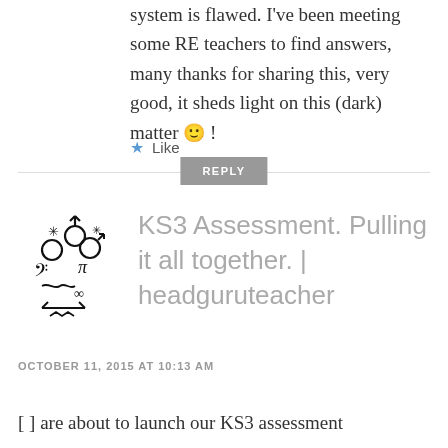system is flawed. I've been meeting some RE teachers to find answers, many thanks for sharing this, very good, it sheds light on this (dark) matter 🙂 !
★ Like
REPLY
[Figure (logo): Stylized logo with astrological and mathematical symbols arranged decoratively]
KS3 Assessment. Pulling it all together. | headguruteacher
OCTOBER 11, 2015 AT 10:13 AM
[ ] are about to launch our KS3 assessment